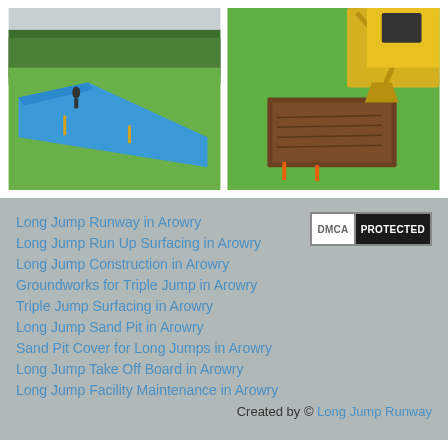[Figure (photo): Long jump runway with blue tarpaulin/matting laid out on grass field, trees in background, overcast sky]
[Figure (photo): Yellow excavator/digger on green grass field with rectangular excavated pit/hole in foreground]
Long Jump Runway in Arowry
Long Jump Run Up Surfacing in Arowry
Long Jump Construction in Arowry
Groundworks for Triple Jump in Arowry
Triple Jump Surfacing in Arowry
Long Jump Sand Pit in Arowry
Sand Pit Cover for Long Jumps in Arowry
Long Jump Take Off Board in Arowry
Long Jump Facility Maintenance in Arowry
Created by © Long Jump Runway